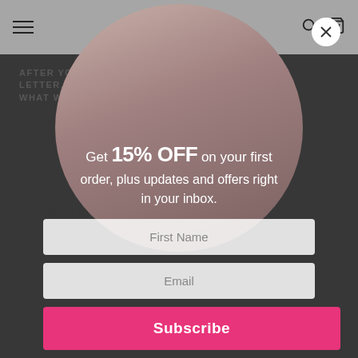pointe passe (logo)
AFTER YOU RECEIVED YOUR ACCEPTANCE LETTER, WERE YOU NERVOUS AND IF SO, WHAT WERE YOU MOST NERVOUS ABOUT?
Catherine: After I received my acceptance letter, I was definitely nervous, but also so excited and happy. What made me nervous was the thought of leaving home for the first time. I would be leaving behind my two sisters, mom, dad, and even my dogs. Everything that I knew and felt comfortable with was going to change - and that scared me
[Figure (screenshot): Email subscription popup modal overlay on a website. Shows a circular photo of a young woman reading on her phone. Text reads: Get 15% OFF on your first order, plus updates and offers right in your inbox. Two input fields: First Name and Email. Pink Subscribe button. Close X button in top right.]